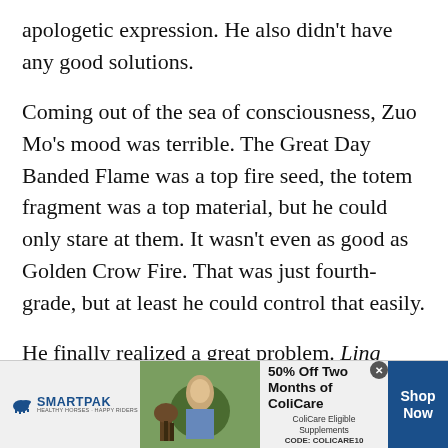apologetic expression. He also didn't have any good solutions.
Coming out of the sea of consciousness, Zuo Mo's mood was terrible. The Great Day Banded Flame was a top fire seed, the totem fragment was a top material, but he could only stare at them. It wasn't even as good as Golden Crow Fire. That was just fourth-grade, but at least he could control that easily.
He finally realized a great problem. Ling power would always be his greatest weakness and he
[Figure (other): SmartPak advertisement banner: '50% Off Two Months of ColiCare, ColiCare Eligible Supplements, CODE: COLICARE10, Shop Now' with horse and rider image and SmartPak logo]